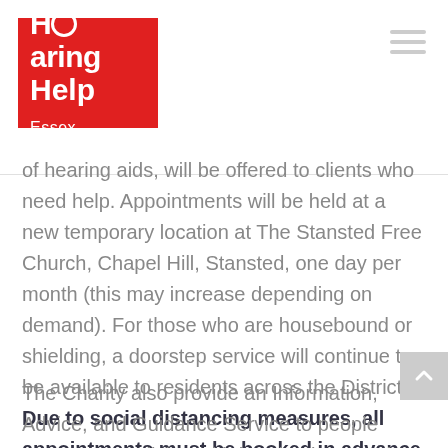[Figure (logo): Hearing Help Essex logo — white text on red background square]
of hearing aids, will be offered to clients who need help. Appointments will be held at a new temporary location at The Stansted Free Church, Chapel Hill, Stansted, one day per month (this may increase depending on demand). For those who are housebound or shielding, a doorstep service will continue to be available to residents across the District. Due to social distancing measures, all appointments must be booked in advance and we cannot accept walk in's.
The Charity also provide an Information, Advice, and Guidance Service to people across Essex living with hearing loss, and this service is currently being